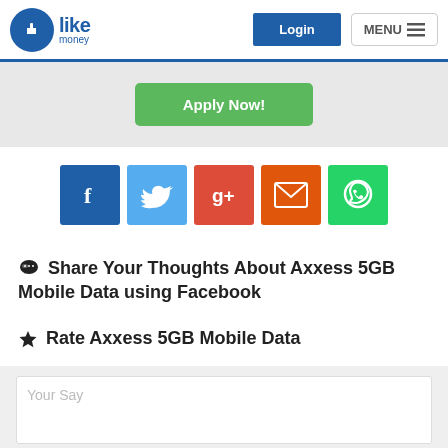Like Money — Login | MENU
[Figure (screenshot): Green Apply Now! button on a light grey banner background]
[Figure (infographic): Row of five social sharing icon buttons: Facebook (blue), Twitter (light blue), Google+ (red), Email (orange), WhatsApp (green)]
Share Your Thoughts About Axxess 5GB Mobile Data using Facebook
Rate Axxess 5GB Mobile Data
Your Say